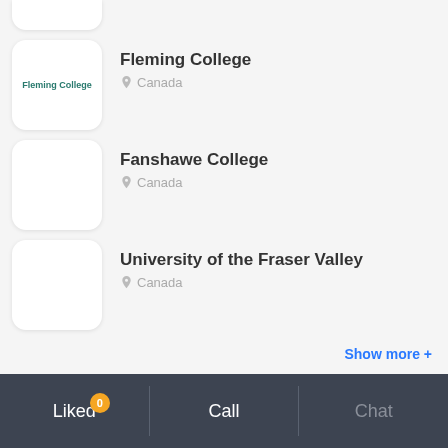[Figure (screenshot): Partial card at top of page, cropped institution logo box]
Fleming College — Canada
Fanshawe College — Canada
University of the Fraser Valley — Canada
Show more +
Liked 0  Call  Chat